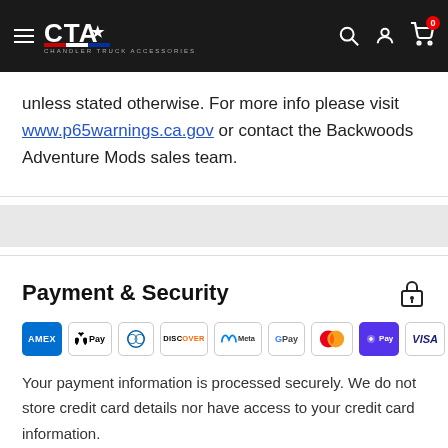CTA - Chandler Truck Accessories
unless stated otherwise. For more info please visit www.p65warnings.ca.gov or contact the Backwoods Adventure Mods sales team.
Payment & Security
[Figure (logo): Payment method logos: American Express, Apple Pay, Diners Club, Discover, Meta Pay, Google Pay, Mastercard, Shop Pay, Visa]
Your payment information is processed securely. We do not store credit card details nor have access to your credit card information.